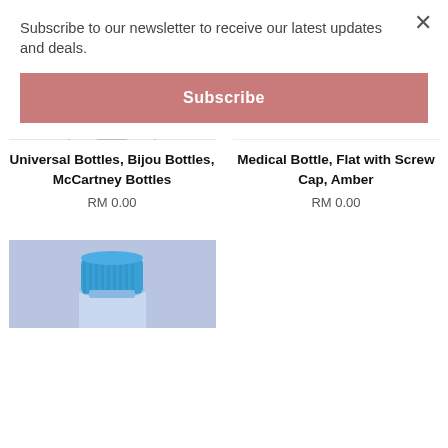Subscribe to our newsletter to receive our latest updates and deals.
Subscribe
[Figure (photo): Close-up of a clear glass universal/bijou bottle bottom on a white surface]
[Figure (photo): Amber flat medical bottles with screw caps, grouped together]
Universal Bottles, Bijou Bottles, McCartney Bottles
RM 0.00
Medical Bottle, Flat with Screw Cap, Amber
RM 0.00
[Figure (photo): Clear bottle with blue screw cap on a purple/blue background, partially visible]